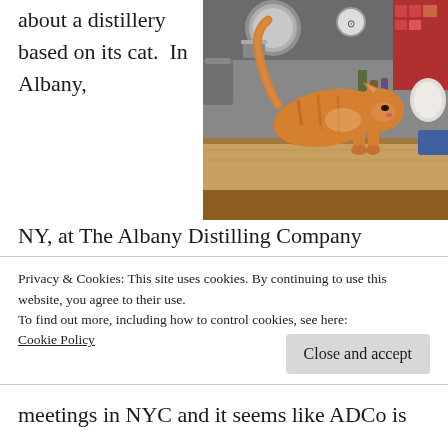about a distillery based on its cat. In Albany, NY, at The Albany Distilling Company (ADCo), one of the co-distillers is Cooper, the distillery cat. Cooper has many jobs: security, pest-removal, temperature control, and his main job is guest satisfaction. On a Saturday morning in
[Figure (photo): An orange tabby cat standing on a wooden surface inside a distillery, surrounded by equipment and bottles.]
Privacy & Cookies: This site uses cookies. By continuing to use this website, you agree to their use. To find out more, including how to control cookies, see here: Cookie Policy
meetings in NYC and it seems like ADCo is